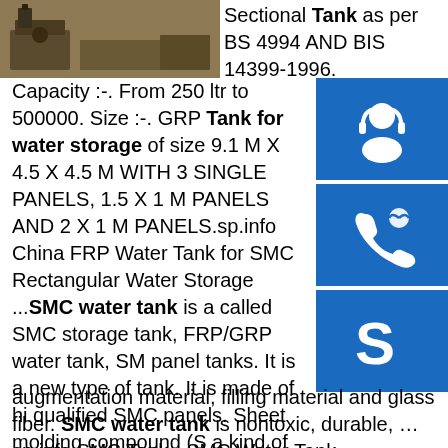[Figure (photo): Photo of industrial tank or pipe fitting equipment on sandy ground]
Sectional Tank as per BS 4994 AND BIS 14399-1996. Capacity :-. From 250 ltr to 500000. Size :-. GRP Tank for water storage of size 9.1 M X 4.5 X 4.5 M WITH 3 SINGLE PANELS, 1.5 X 1 M PANELS AND 2 X 1 M PANELS.sp.info China FRP Water Tank for SMC Rectangular Water Storage ...SMC water tank is also called SMC storage tank, FRP/GRP water tank, SMC panel tanks. It is a new type of tank. It is made of high qualified SMC panels. Sheet molding compound (SMC) a kind of fiberglass reinforced plastic, which is a mix of unsaturated polyester resin with impregnating augmentation material, filling material and glass fiber. SMC water tank is nontoxic, durable, …sp.info SMC Tank - SMC Water Tank Manufacturer from ChennaiFor the purpose of storage of the water, the SMC panel tanks are used in various industrial applications. High load carrying capacity and resistance against leakage make the SMC panel tanks highly demanded in the market. Features:
[Figure (infographic): Blue sidebar with three contact icons: headset/customer service icon, phone icon, and Skype icon]